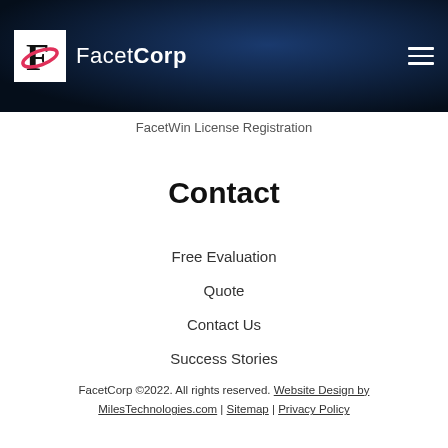FacetCorp — logo and navigation hamburger menu
FacetWin License Registration
Contact
Free Evaluation
Quote
Contact Us
Success Stories
FacetCorp ©2022. All rights reserved. Website Design by MilesTechnologies.com | Sitemap | Privacy Policy